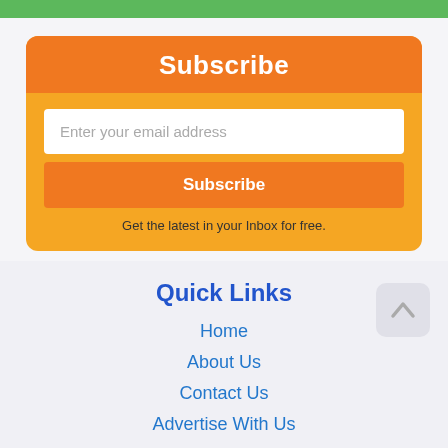[Figure (other): Green bar at top of page]
Subscribe
Enter your email address
Subscribe
Get the latest in your Inbox for free.
Quick Links
Home
About Us
Contact Us
Advertise With Us